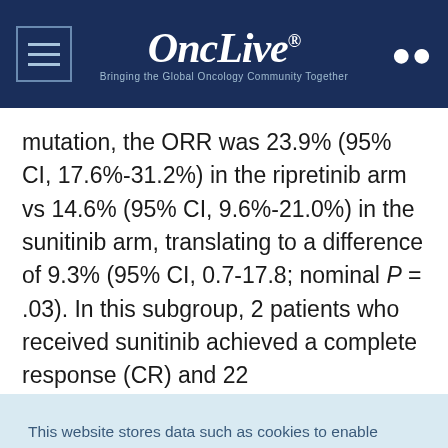OncLive® — Bringing the Global Oncology Community Together
mutation, the ORR was 23.9% (95% CI, 17.6%-31.2%) in the ripretinib arm vs 14.6% (95% CI, 9.6%-21.0%) in the sunitinib arm, translating to a difference of 9.3% (95% CI, 0.7-17.8; nominal P = .03). In this subgroup, 2 patients who received sunitinib achieved a complete response (CR) and 22
This website stores data such as cookies to enable essential site functionality, as well as marketing, personalization, and analytics. Cookie Policy
Accept
Deny